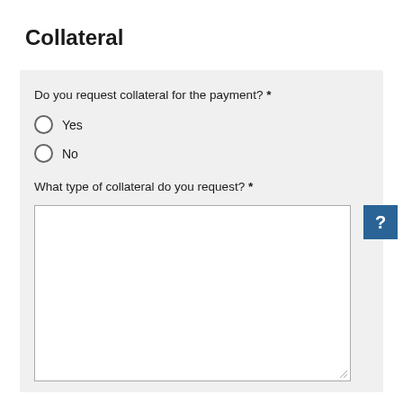Collateral
Do you request collateral for the payment? *
Yes
No
What type of collateral do you request? *